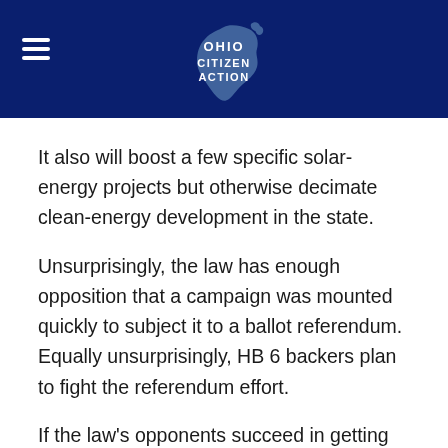Ohio Citizen Action
It also will boost a few specific solar-energy projects but otherwise decimate clean-energy development in the state.
Unsurprisingly, the law has enough opposition that a campaign was mounted quickly to subject it to a ballot referendum. Equally unsurprisingly, HB 6 backers plan to fight the referendum effort.
If the law's opponents succeed in getting the 265,774 valid petition signatures they need by Oct. 21 to put the issue on the November 2020 ballot, we can all expect a hard-fought campaign with a barrage of ads like those we saw while the